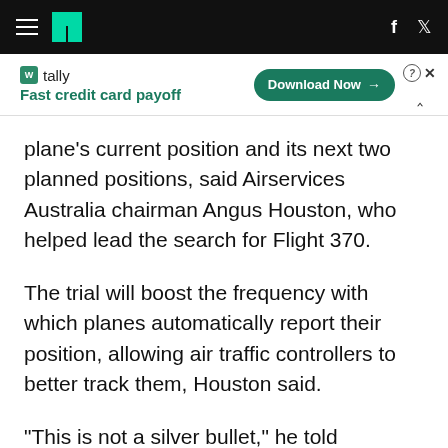HuffPost navigation header with hamburger menu, logo, Facebook and Twitter icons
[Figure (infographic): Tally advertisement banner: 'tally / Fast credit card payoff' with a Download Now button, question mark icon, close X, and collapse caret]
plane's current position and its next two planned positions, said Airservices Australia chairman Angus Houston, who helped lead the search for Flight 370.
The trial will boost the frequency with which planes automatically report their position, allowing air traffic controllers to better track them, Houston said.
"This is not a silver bullet," he told reporters in the nation's capital, Canberra. "But it is an important